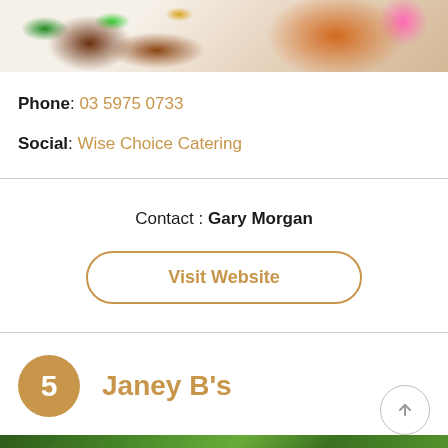[Figure (photo): Food photo showing sliced meat with greens and garnish on left, and a bowl of grains on pink background on right]
Phone: 03 5975 0733
Social: Wise Choice Catering
Contact : Gary Morgan
Visit Website
5  Janey B's
[Figure (photo): Bottom partial image showing green foliage/plants]